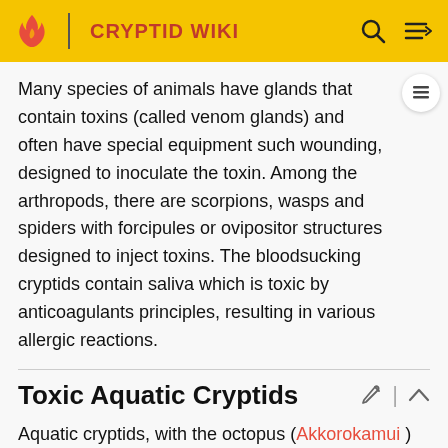CRYPTID WIKI
Many species of animals have glands that contain toxins (called venom glands) and often have special equipment such wounding, designed to inoculate the toxin. Among the arthropods, there are scorpions, wasps and spiders with forcipules or ovipositor structures designed to inject toxins. The bloodsucking cryptids contain saliva which is toxic by anticoagulants principles, resulting in various allergic reactions.
Toxic Aquatic Cryptids
Aquatic cryptids, with the octopus (Akkorokamui) in particular, have toxic saliva to immobilize their prey and various gastropod cryptids contain a radula modified to